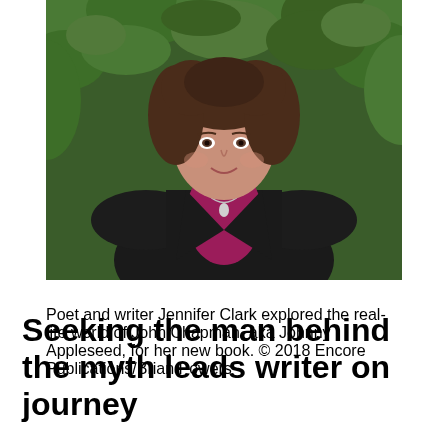[Figure (photo): Portrait photo of a woman with curly brown hair, wearing a black cardigan over a magenta/burgundy top with a necklace, posed outdoors in front of green leafy foliage background.]
Poet and writer Jennifer Clark explored the real-life world of John Chapman, aka Johnny Appleseed, for her new book. © 2018 Encore Publications/Brian Powers
Seeking the man behind the myth leads writer on journey